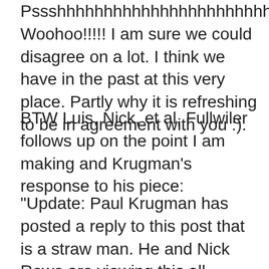Pssshhhhhhhhhhhhhhhhhhhhhhhhh Woohoo!!!!! I am sure we could disagree on a lot. I think we have in the past at this very place. Partly why it is refreshing to be in agreement with you :).
BTW Luis, Nick, et al, Fullwiler follows up on the point I am making and Krugman's response to his piece:
"Update: Paul Krugman has posted a reply to this post that is a straw man. He and Nick Rowe are viewing this all through the lens of the old Monetarist/Keynesian debates in which there was a choice b/n interest rate targets and